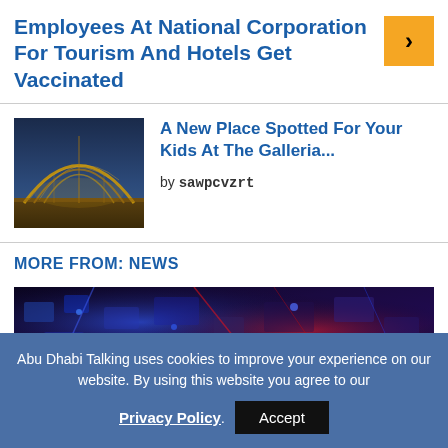Employees At National Corporation For Tourism And Hotels Get Vaccinated
[Figure (photo): Architectural photo of a building with decorative steel arch structures, warm golden lighting, night scene]
A New Place Spotted For Your Kids At The Galleria...
by sawpcvzrt
MORE FROM: NEWS
[Figure (photo): Dark blue and purple abstract technology/circuit board photo with red and blue lights]
Abu Dhabi Talking uses cookies to improve your experience on our website. By using this website you agree to our Privacy Policy. Accept